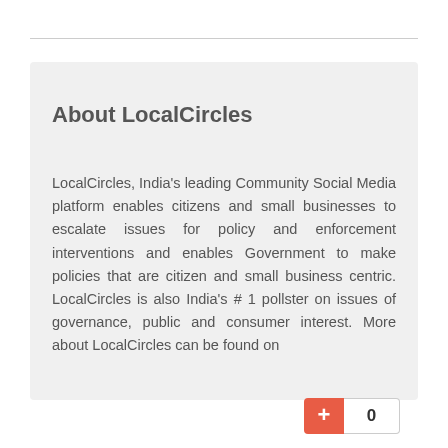About LocalCircles
LocalCircles, India’s leading Community Social Media platform enables citizens and small businesses to escalate issues for policy and enforcement interventions and enables Government to make policies that are citizen and small business centric. LocalCircles is also India’s # 1 pollster on issues of governance, public and consumer interest. More about LocalCircles can be found on